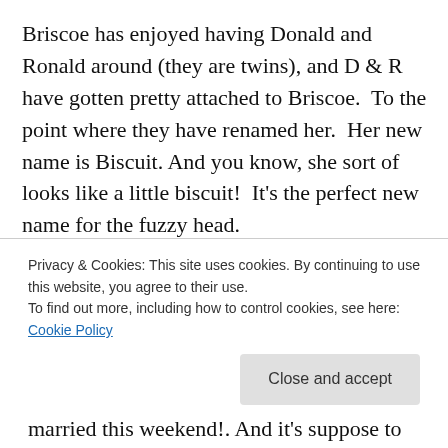Briscoe has enjoyed having Donald and Ronald around (they are twins), and D & R have gotten pretty attached to Briscoe.  To the point where they have renamed her.  Her new name is Biscuit. And you know, she sort of looks like a little biscuit!  It's the perfect new name for the fuzzy head.
Advertisements
[Figure (other): Pocket Casts advertisement banner: red background with text 'An app by listeners, for listeners.' alongside a phone graphic and Pocket Casts logo]
I almost stepped on a snake this morning right outside the
Privacy & Cookies: This site uses cookies. By continuing to use this website, you agree to their use.
To find out more, including how to control cookies, see here: Cookie Policy
married this weekend!. And it's suppose to be 90 degrees